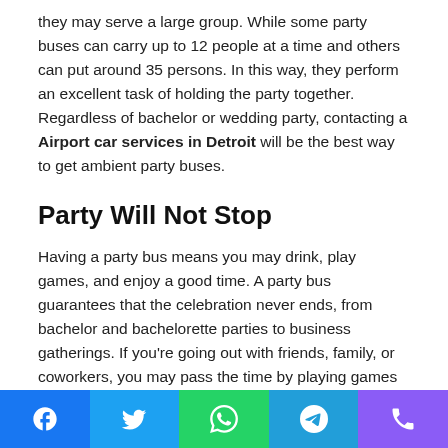they may serve a large group. While some party buses can carry up to 12 people at a time and others can put around 35 persons. In this way, they perform an excellent task of holding the party together. Regardless of bachelor or wedding party, contacting a Airport car services in Detroit will be the best way to get ambient party buses.
Party Will Not Stop
Having a party bus means you may drink, play games, and enjoy a good time. A party bus guarantees that the celebration never ends, from bachelor and bachelorette parties to business gatherings. If you're going out with friends, family, or coworkers, you may pass the time by playing games or just hanging out. Most party buses are standard for ambient lighting, big-screen TVs, and music systems. You also don't
[Figure (other): Social sharing bar with Facebook, Twitter, WhatsApp, Telegram, and phone icons]